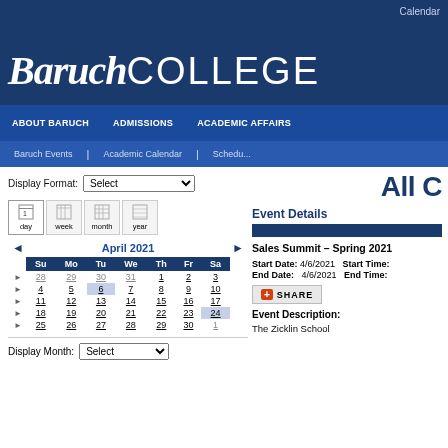Calendar
Baruch COLLEGE
ABOUT BARUCH | ADMISSIONS | ACADEMIC AFFAIRS
Baruch Events | Academic Calendar | Schedule
Display Format: Select
All C
[Figure (other): Calendar view icons: day, week, month, year]
|  | Su | Mo | Tu | We | Th | Fr | Sa |
| --- | --- | --- | --- | --- | --- | --- | --- |
| ▶ | 28 | 29 | 30 | 31 | 1 | 2 | 3 |
| ▶ | 4 | 5 | 6 | 7 | 8 | 9 | 10 |
| ▶ | 11 | 12 | 13 | 14 | 15 | 16 | 17 |
| ▶ | 18 | 19 | 20 | 21 | 22 | 23 | 24 |
| ▶ | 25 | 26 | 27 | 28 | 29 | 30 | 1 |
Display Month: Select
Event Details
Sales Summit – Spring 2021
Start Date: 4/6/2021  Start Time:
End Date: 4/6/2021  End Time:
SHARE
Event Description:
The Zicklin School